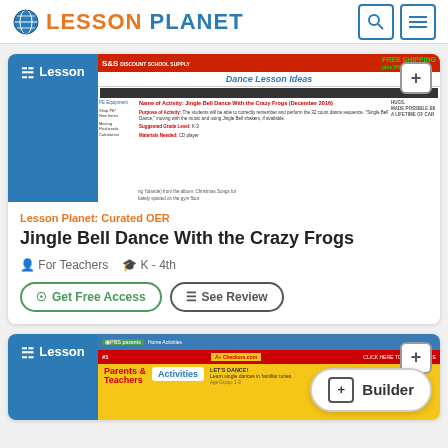LESSON PLANET
[Figure (screenshot): Screenshot of a dance lesson website showing 'Dance Lesson Ideas' page with a lesson on Jingle Bell Dance With the Crazy Frogs]
Lesson Planet: Curated OER
Jingle Bell Dance With the Crazy Frogs
For Teachers  K - 4th
Get Free Access  See Review
[Figure (screenshot): Screenshot of a PBS parents activities page with yellow background showing Activities section]